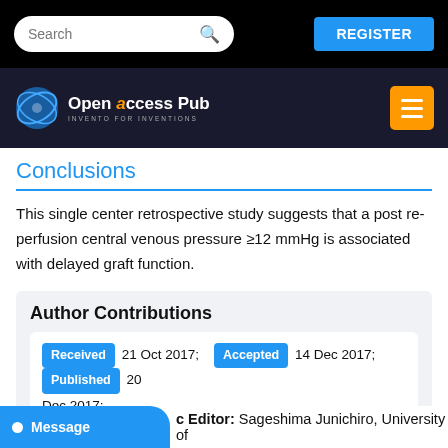Search | REGISTER
[Figure (logo): Open Access Pub logo with globe icon and orange menu button]
Conclusions
This single center retrospective study suggests that a post reperfusion central venous pressure ≥12 mmHg is associated with delayed graft function.
Author Contributions
Received 21 Oct 2017; Accepted 14 Dec 2017; Published 20 Dec 2017;
Academic Editor: Sageshima Junichiro, University of